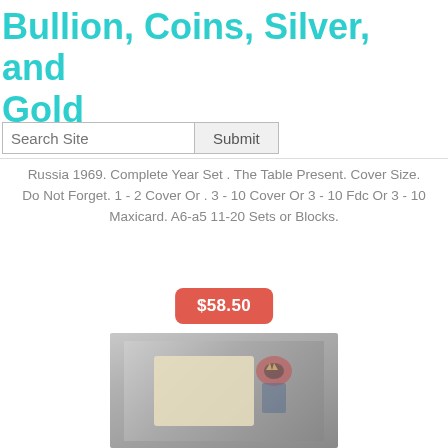Bullion, Coins, Silver, and Gold
Search Site
Russia 1969. Complete Year Set. The Table Present. Cover Size. Do Not Forget. 1 - 2 Cover Or . 3 - 10 Cover Or 3 - 10 Fdc Or 3 - 10 Maxicard. A6-a5 11-20 Sets or Blocks.
[Figure (other): Price badge showing $58.50 in red/salmon rounded rectangle]
[Figure (photo): Photograph of a vintage coin or stamp on a light grey fabric background, showing colorful imagery including what appears to be a Russian imperial eagle emblem]